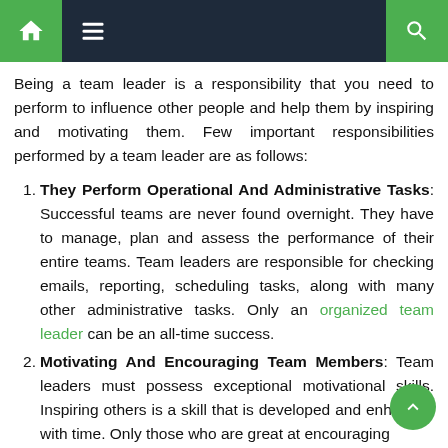Navigation bar with home, menu, and search icons
Being a team leader is a responsibility that you need to perform to influence other people and help them by inspiring and motivating them. Few important responsibilities performed by a team leader are as follows:
They Perform Operational And Administrative Tasks: Successful teams are never found overnight. They have to manage, plan and assess the performance of their entire teams. Team leaders are responsible for checking emails, reporting, scheduling tasks, along with many other administrative tasks. Only an organized team leader can be an all-time success.
Motivating And Encouraging Team Members: Team leaders must possess exceptional motivational skills. Inspiring others is a skill that is developed and enhanced with time. Only those who are great at encouraging